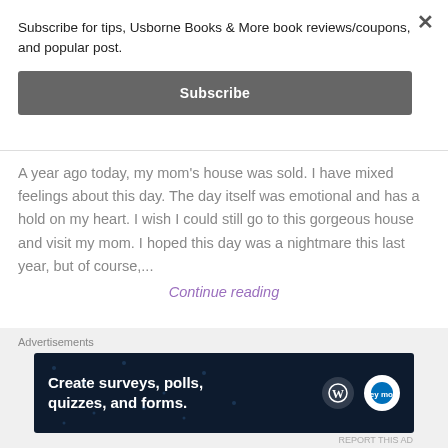Subscribe for tips, Usborne Books & More book reviews/coupons, and popular post.
Subscribe
A year ago today, my mom's house was sold. I have mixed feelings about this day. The day itself was emotional and has a hold on my heart. I wish I could still go to this gorgeous house and visit my mom. I hoped this day was a nightmare this last year, but of course,...
Continue reading
Advertisements
[Figure (infographic): Dark navy advertisement banner reading 'Create surveys, polls, quizzes, and forms.' with WordPress and SurveyMonkey logos on right side]
REPORT THIS AD